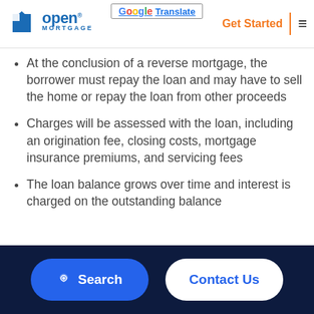Open Mortgage | Get Started | Translate
At the conclusion of a reverse mortgage, the borrower must repay the loan and may have to sell the home or repay the loan from other proceeds
Charges will be assessed with the loan, including an origination fee, closing costs, mortgage insurance premiums, and servicing fees
The loan balance grows over time and interest is charged on the outstanding balance
Search | Contact Us